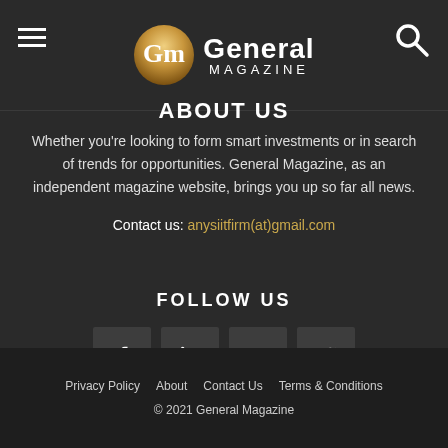General Magazine
ABOUT US
Whether you're looking to form smart investments or in search of trends for opportunities. General Magazine, as an independent magazine website, brings you up so far all news.
Contact us: anysiitfirm(at)gmail.com
FOLLOW US
[Figure (infographic): Four social media icon buttons: Facebook, LinkedIn, PayPal, Twitter]
Privacy Policy  About  Contact Us  Terms & Conditions
© 2021 General Magazine